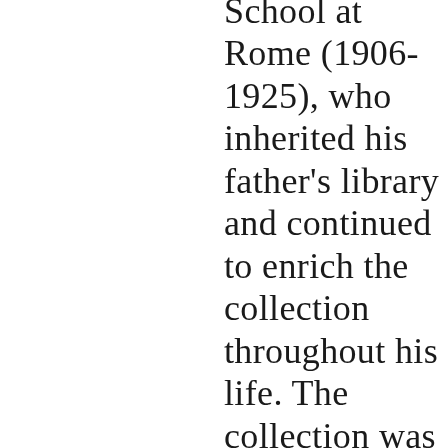School at Rome (1906-1925), who inherited his father's library and continued to enrich the collection throughout his life. The collection was purchased from his widow in 1931 for the BSR Library thanks to a generous donation from